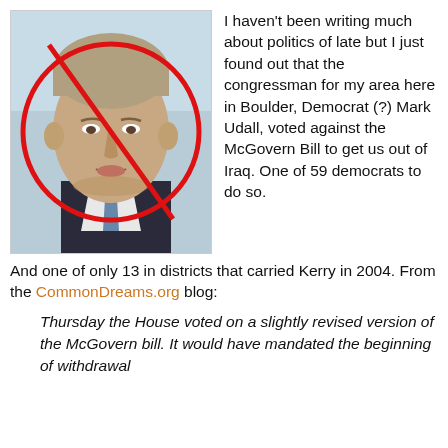[Figure (photo): Photo of a man (Mark Udall) with a red circle-and-slash 'no' symbol overlaid on his face]
I haven't been writing much about politics of late but I just found out that the congressman for my area here in Boulder, Democrat (?) Mark Udall, voted against the McGovern Bill to get us out of Iraq. One of 59 democrats to do so. And one of only 13 in districts that carried Kerry in 2004. From the CommonDreams.org blog:
Thursday the House voted on a slightly revised version of the McGovern bill. It would have mandated the beginning of withdrawal